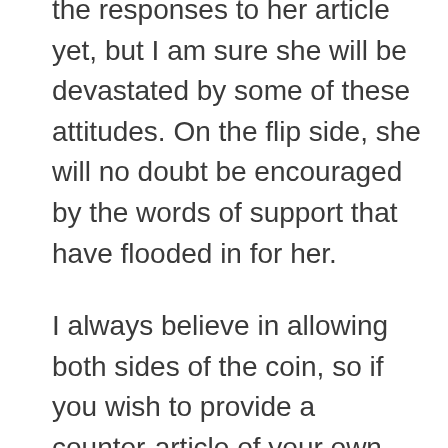the responses to her article yet, but I am sure she will be devastated by some of these attitudes. On the flip side, she will no doubt be encouraged by the words of support that have flooded in for her.

I always believe in allowing both sides of the coin, so if you wish to provide a counter-article of your own opinion and experience of this Retreat, and what it did for you as a survivor, then we'll be happy to